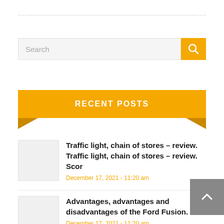[Figure (screenshot): Search bar with text input field and yellow search button with magnifying glass icon]
RECENT POSTS
[Figure (illustration): Small thumbnail placeholder image (light gray box)]
Traffic light, chain of stores – review. Traffic light, chain of stores – review. Scor
December 17, 2021 - 11:20 am
[Figure (illustration): Small thumbnail placeholder image (light gray box)]
Advantages, advantages and disadvantages of the Ford Fusion.
December 17, 2021 - 11:20 am